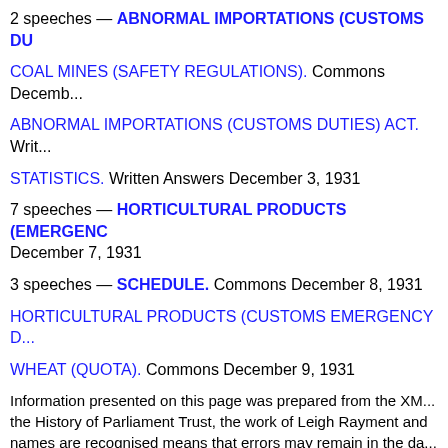2 speeches — ABNORMAL IMPORTATIONS (CUSTOMS DU...
COAL MINES (SAFETY REGULATIONS). Commons Decemb...
ABNORMAL IMPORTATIONS (CUSTOMS DUTIES) ACT. Writ...
STATISTICS. Written Answers December 3, 1931
7 speeches — HORTICULTURAL PRODUCTS (EMERGENC... December 7, 1931
3 speeches — SCHEDULE. Commons December 8, 1931
HORTICULTURAL PRODUCTS (CUSTOMS EMERGENCY D...
WHEAT (QUOTA). Commons December 9, 1931
Information presented on this page was prepared from the XM... the History of Parliament Trust, the work of Leigh Rayment and names are recognised means that errors may remain in the da...
Noticed a typo? | Report other issues | © UK Parliament